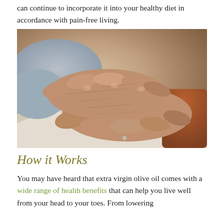can continue to incorporate it into your healthy diet in accordance with pain-free living.
[Figure (photo): Close-up photograph of elderly person's wrinkled hands resting on their lap, wearing a grey sweater, with beige/cream clothing visible.]
How it Works
You may have heard that extra virgin olive oil comes with a wide range of health benefits that can help you live well from your head to your toes. From lowering